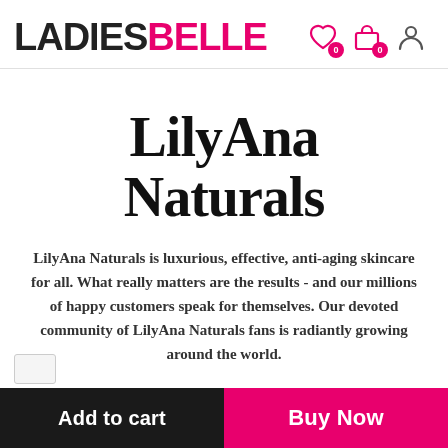LADIESBELLE — header with wishlist (0), cart (0), and account icons
LilyAna Naturals
LilyAna Naturals is luxurious, effective, anti-aging skincare for all. What really matters are the results - and our millions of happy customers speak for themselves. Our devoted community of LilyAna Naturals fans is radiantly growing around the world.
Add to cart | Buy Now